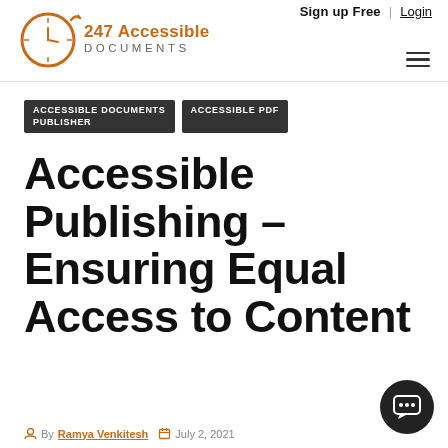Sign up Free | Login
[Figure (logo): 247 Accessible Documents logo with clock icon]
ACCESSIBLE DOCUMENTS PUBLISHER
ACCESSIBLE PDF
Accessible Publishing – Ensuring Equal Access to Content
By Ramya Venkitesh   July 2, 2021